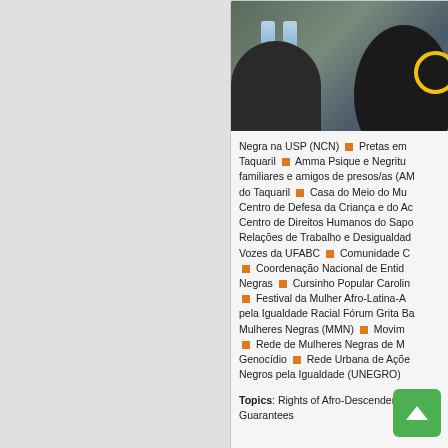[Figure (photo): Photo of people seated at a conference table with water bottles, partially cropped]
Negra na USP (NCN) ▪ Pretas em Taquaril ▪ Amma Psique e Negritude familiares e amigos de presos/as (AM do Taquaril ▪ Casa do Meio do Mu Centro de Defesa da Criança e do Ac Centro de Direitos Humanos do Sapo Relações de Trabalho e Desigualdad Vozes da UFABC ▪ Comunidade C ▪ Coordenação Nacional de Entid Negras ▪ Cursinho Popular Carolin ▪ Festival da Mulher Afro-Latina-A pela Igualdade Racial Fórum Grita Ba Mulheres Negras (MMN) ▪ Movim ▪ Rede de Mulheres Negras de M Genocídio ▪ Rede Urbana de Açõe Negros pela Igualdade (UNEGRO)
Topics: Rights of Afro-Descendents and Guarantees